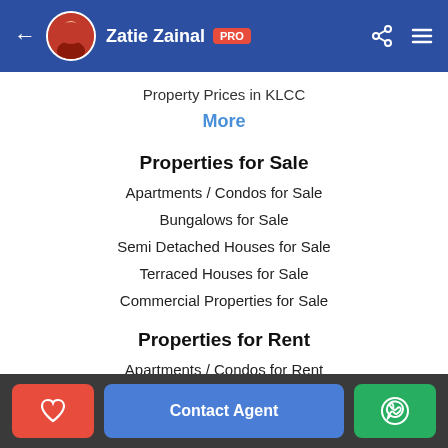Zatie Zainal PRO
Property Prices in KLCC
More
Properties for Sale
Apartments / Condos for Sale
Bungalows for Sale
Semi Detached Houses for Sale
Terraced Houses for Sale
Commercial Properties for Sale
Properties for Rent
Apartments / Condos for Rent
Contact Agent